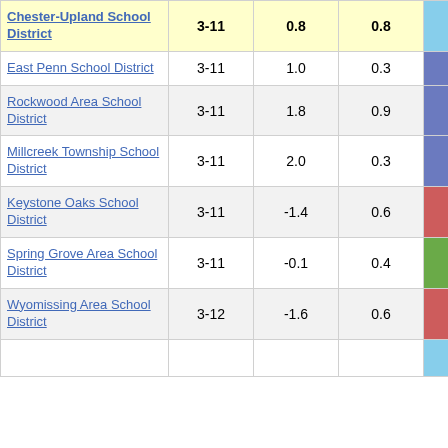| Chester-Upland School District | 3-11 | 0.8 | 0.8 | 1.05 |
| East Penn School District | 3-11 | 1.0 | 0.3 | 3.50 |
| Rockwood Area School District | 3-11 | 1.8 | 0.9 | 2.02 |
| Millcreek Township School District | 3-11 | 2.0 | 0.3 | 6.27 |
| Keystone Oaks School District | 3-11 | -1.4 | 0.6 | -2.39 |
| Spring Grove Area School District | 3-11 | -0.1 | 0.4 | -0.23 |
| Wyomissing Area School District | 3-12 | -1.6 | 0.6 | -2.77 |